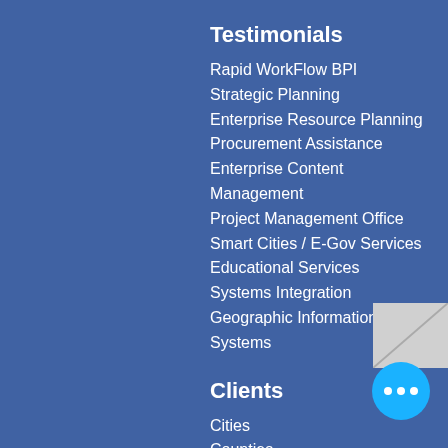Testimonials
Rapid WorkFlow BPI
Strategic Planning
Enterprise Resource Planning
Procurement Assistance
Enterprise Content Management
Project Management Office
Smart Cities / E-Gov Services
Educational Services
Systems Integration
Geographic Information Systems
Clients
Cities
Counties
States
Federal
Public Safety
Water Districts
Transportation
Corporate
Technology
Design & Construction
Entertainment
Legal
Education